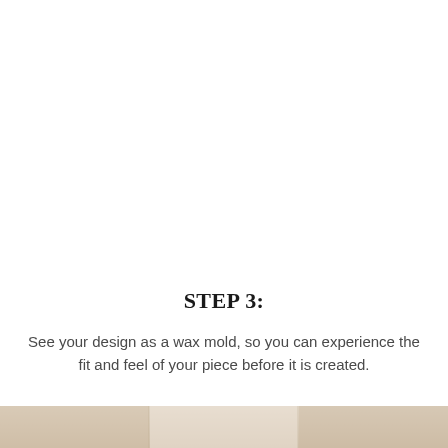[Figure (photo): White space / top portion of page showing wax mold jewelry image cropped out]
STEP 3:
See your design as a wax mold, so you can experience the fit and feel of your piece before it is created.
[Figure (photo): Bottom strip of a photograph showing wax mold jewelry pieces on a surface]